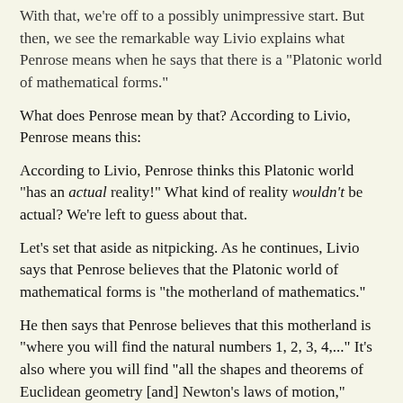With that, we're off to a possibly unimpressive start. But then, we see the remarkable way Livio explains what Penrose means when he says that there is a "Platonic world of mathematical forms."
What does Penrose mean by that? According to Livio, Penrose means this:
According to Livio, Penrose thinks this Platonic world "has an actual reality!" What kind of reality wouldn't be actual? We're left to guess about that.
Let's set that aside as nitpicking. As he continues, Livio says that Penrose believes that the Platonic world of mathematical forms is "the motherland of mathematics."
He then says that Penrose believes that this motherland is "where you will find the natural numbers 1, 2, 3, 4,..." It's also where you will find "all the shapes and theorems of Euclidean geometry [and] Newton's laws of motion," among other assorted entities.
Question: Will any reader have any idea what this mumbo-jumbo